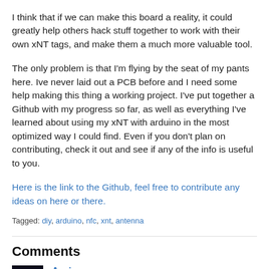I think that if we can make this board a reality, it could greatly help others hack stuff together to work with their own xNT tags, and make them a much more valuable tool.
The only problem is that I'm flying by the seat of my pants here. Ive never laid out a PCB before and I need some help making this thing a working project. I've put together a Github with my progress so far, as well as everything I've learned about using my xNT with arduino in the most optimized way I could find. Even if you don't plan on contributing, check it out and see if any of the info is useful to you.
Here is the link to the Github, feel free to contribute any ideas on here or there.
Tagged: diy, arduino, nfc, xnt, antenna
Comments
Aeris
December 2016